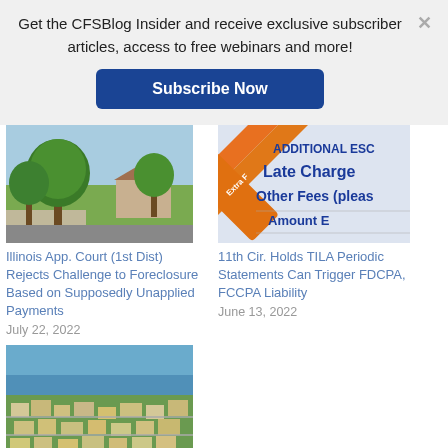Get the CFSBlog Insider and receive exclusive subscriber articles, access to free webinars and more!
Subscribe Now
[Figure (photo): Suburban street with large trees and a house in the background]
Illinois App. Court (1st Dist) Rejects Challenge to Foreclosure Based on Supposedly Unapplied Payments
July 22, 2022
[Figure (photo): Close-up of a financial document showing 'ADDITIONAL ESCO...', 'Extra F...', 'Late Charge', 'Other Fees (please', 'Amount E']
11th Cir. Holds TILA Periodic Statements Can Trigger FDCPA, FCCPA Liability
June 13, 2022
[Figure (photo): Aerial view of a coastal suburban neighborhood with ocean visible]
11th Cir. Reiterates That